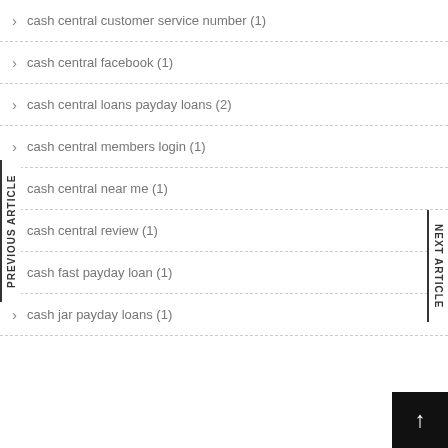cash central customer service number (1)
cash central facebook (1)
cash central loans payday loans (2)
cash central members login (1)
cash central near me (1)
cash central review (1)
cash fast payday loan (1)
cash jar payday loans (1)